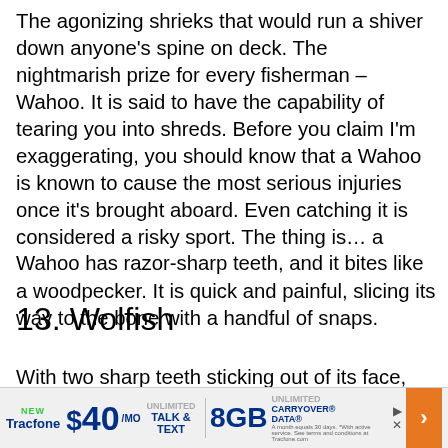The agonizing shrieks that would run a shiver down anyone's spine on deck. The nightmarish prize for every fisherman – Wahoo. It is said to have the capability of tearing you into shreds. Before you claim I'm exaggerating, you should know that a Wahoo is known to cause the most serious injuries once it's brought aboard. Even catching it is considered a risky sport. The thing is… a Wahoo has razor-sharp teeth, and it bites like a woodpecker. It is quick and painful, slicing its way to the bone with a handful of snaps.
13. Wolfish
With two sharp teeth sticking out of its face, and with a look glaring at you like it is going to bite your f… the Wolfis… s you
[Figure (other): Tracfone advertisement banner: NEW Tracfone $40/mo UNLIMITED TALK & TEXT | 8GB UNLIMITED CARRYOVER DATA]